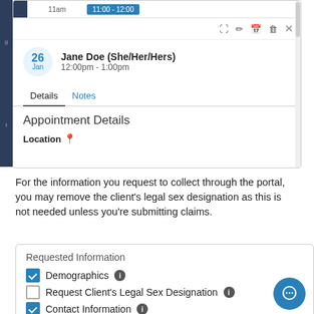[Figure (screenshot): Calendar appointment popup showing Jane Doe (She/Her/Hers) scheduled Jan 26, 12:00pm - 1:00pm. Has Details and Notes tabs with Appointment Details section and Location field.]
For the information you request to collect through the portal, you may remove the client's legal sex designation as this is not needed unless you're submitting claims.
[Figure (screenshot): Requested Information panel with checkboxes: Demographics (checked), Request Client's Legal Sex Designation (unchecked), Contact Information (checked), and a partially visible fourth item (checked).]